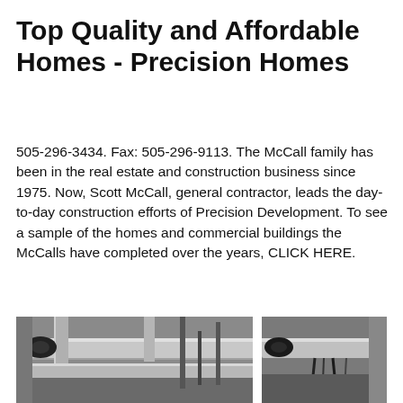Top Quality and Affordable Homes - Precision Homes
505-296-3434. Fax: 505-296-9113. The McCall family has been in the real estate and construction business since 1975. Now, Scott McCall, general contractor, leads the day-to-day construction efforts of Precision Development. To see a sample of the homes and commercial buildings the McCalls have completed over the years, CLICK HERE.
[Figure (other): Button labeled 'Get Price' with orange background]
[Figure (photo): Two side-by-side photos showing industrial/mechanical equipment with metal pipes and components]